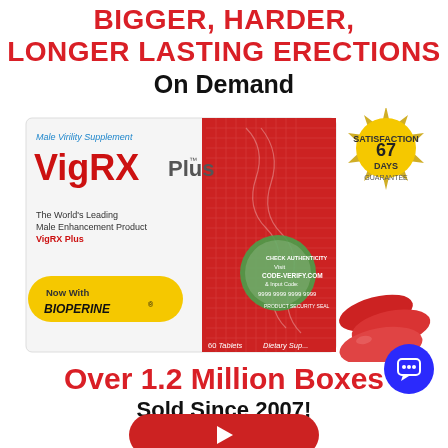BIGGER, HARDER, LONGER LASTING ERECTIONS On Demand
[Figure (photo): VigRX Plus product box showing Male Virility Supplement branding with red and white design, featuring a snake graphic, authentication seal with code 9999 9999 9999 9999, and red capsule pills next to the box. A gold 67 Days Satisfaction Guarantee badge is shown top right. Yellow banner reads 'Now With BIOPERINE'. Box states '60 Tablets' and 'Dietary Supplement'. Tagline reads 'The World's Leading Male Enhancement Product VigRX Plus'.]
Over 1.2 Million Boxes Sold Since 2007!